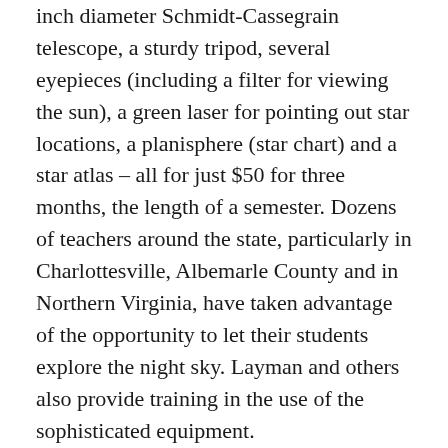inch diameter Schmidt-Cassegrain telescope, a sturdy tripod, several eyepieces (including a filter for viewing the sun), a green laser for pointing out star locations, a planisphere (star chart) and a star atlas – all for just $50 for three months, the length of a semester. Dozens of teachers around the state, particularly in Charlottesville, Albemarle County and in Northern Virginia, have taken advantage of the opportunity to let their students explore the night sky. Layman and others also provide training in the use of the sophisticated equipment.
“By looking through a lens and directly observing the moon and planets in detail, students get a strong realization that what we talk about in class is real, and not just pictures in a book or online,” said Jeff Matriccino, a sixth-grade science teacher